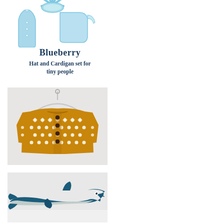[Figure (illustration): Watercolor illustration of a baby hat and cardigan/coat set in light blue tones, spread out flat]
Blueberry
Hat and Cardigan set for tiny people
[Figure (photo): Photo of a mustard yellow knitted children's cardigan with white snowflake/flower pattern and dark buttons, hanging on a white hanger against a light background]
[Figure (photo): Photo of a teal/dark blue plush stuffed dolphin toy lying on a white surface]